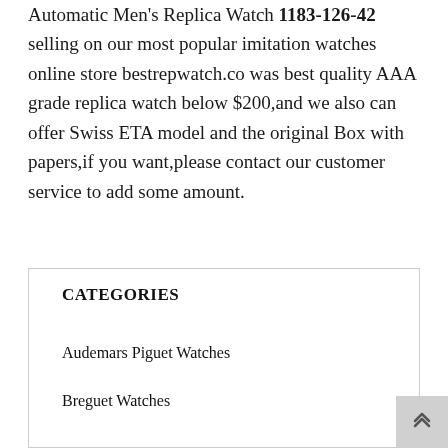Automatic Men's Replica Watch 1183-126-42 selling on our most popular imitation watches online store bestrepwatch.co was best quality AAA grade replica watch below $200,and we also can offer Swiss ETA model and the original Box with papers,if you want,please contact our customer service to add some amount.
CATEGORIES
Audemars Piguet Watches
Breguet Watches